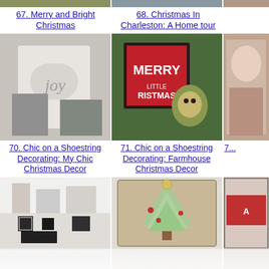[Figure (photo): Partial top image for item 67 - room/home decor]
[Figure (photo): Partial top image for item 68 - home interior]
[Figure (photo): Partial top image for item 72+ - partially visible]
67. Merry and Bright Christmas
68. Christmas In Charleston: A Home tour
[Figure (photo): Joy pillow on sofa with grey blanket - chic Christmas decor]
[Figure (photo): Merry Little Christmas farmhouse sign with decorative owl]
[Figure (photo): Partial right image for item 72]
70. Chic on a Shoestring Decorating: My Chic Christmas Decor
71. Chic on a Shoestring Decorating: Farmhouse Christmas Decor
7...
[Figure (photo): Black and white Christmas decorated room/kitchen]
[Figure (photo): Vintage flocked Christmas trees with ornaments]
[Figure (photo): Partial right image - Christmas decoration]